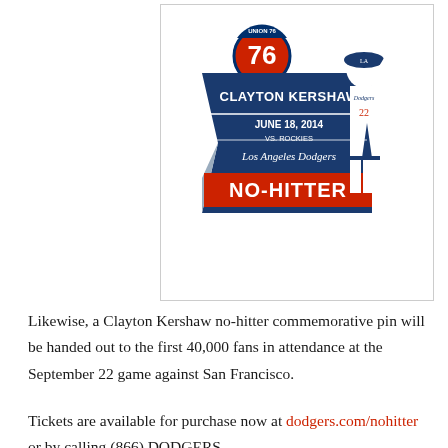[Figure (illustration): Clayton Kershaw no-hitter commemorative pin featuring the 76 logo, a blue pennant-shaped plaque with 'CLAYTON KERSHAW', 'JUNE 18, 2014 VS. ROCKIES', 'Los Angeles Dodgers', and 'NO-HITTER' in a red banner, alongside an illustration of Kershaw in uniform #22 with fist raised.]
Likewise, a Clayton Kershaw no-hitter commemorative pin will be handed out to the first 40,000 fans in attendance at the September 22 game against San Francisco.
Tickets are available for purchase now at dodgers.com/nohitter or by calling (866) DODGERS.